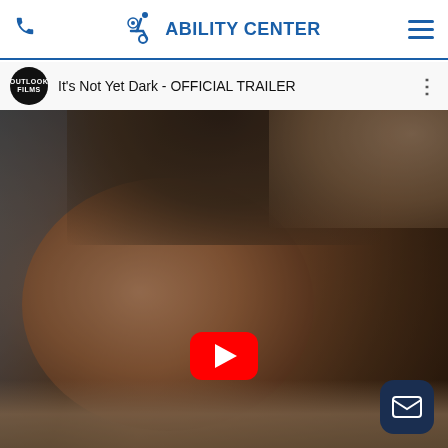Ability Center
[Figure (screenshot): YouTube video thumbnail showing a close-up of a man's face with text overlay reading 'It's Not Yet Dark - OFFICIAL TRAILER' and the Outlook Films logo circle. A red YouTube play button is visible at the bottom center. A dark navy email/contact button appears at bottom right.]